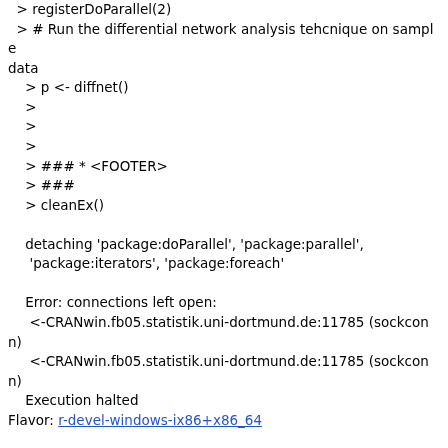> registerDoParallel(2)
> # Run the differential network analysis tehcnique on sample data
    > p <- diffnet()
    >
    >
    >
    > ### * <FOOTER>
    > ###
    > cleanEx()

    detaching 'package:doParallel', 'package:parallel',
     'package:iterators', 'package:foreach'

    Error: connections left open:
     <-CRANwin.fb05.statistik.uni-dortmund.de:11785 (sockconn)
     <-CRANwin.fb05.statistik.uni-dortmund.de:11785 (sockconn)
    Execution halted
Flavor: r-devel-windows-ix86+x86_64

Version: 1.0-0
Check: running examples for arch ‘x64’
Result: ERROR
    Running examples in 'DiffNet-Ex.R' failed
    The error most likely occurred in: